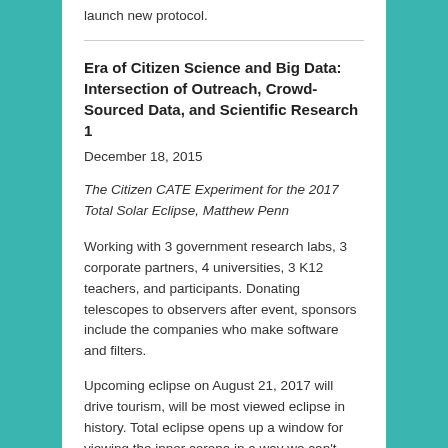launch new protocol.
Era of Citizen Science and Big Data: Intersection of Outreach, Crowd-Sourced Data, and Scientific Research 1
December 18, 2015
The Citizen CATE Experiment for the 2017 Total Solar Eclipse, Matthew Penn
Working with 3 government research labs, 3 corporate partners, 4 universities, 3 K12 teachers, and participants. Donating telescopes to observers after event, sponsors include the companies who make software and filters.
Upcoming eclipse on August 21, 2017 will drive tourism, will be most viewed eclipse in history. Total eclipse opens up a window for viewing the inner corona in a way we can't from space. The part easily viewed from an eclipse is the hardest part to study from a spacecraft. Planning to look at what is happening with polar plumes, they're